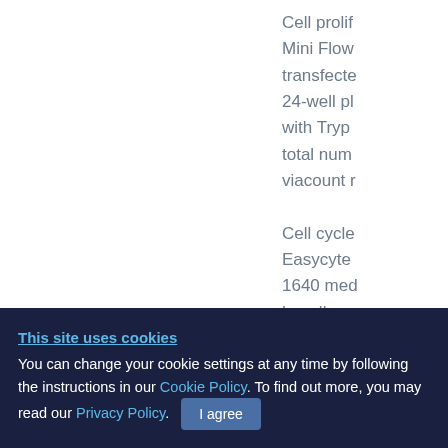Cell prolif Mini Flow transfecte 24-well pl with Tryp total num viacount r
Cell cycle Easycyte 1640 med h, cells w ml of 70% with PBS
This site uses cookies
You can change your cookie settings at any time by following the instructions in our Cookie Policy. To find out more, you may read our Privacy Policy.